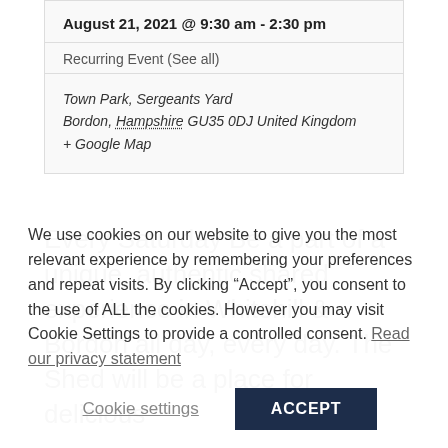August 21, 2021 @ 9:30 am - 2:30 pm
Recurring Event (See all)
Town Park, Sergeants Yard
Bordon, Hampshire GU35 0DJ United Kingdom
+ Google Map
Every Saturday Be a part of a unique, authentic shared experience in Whitehill & Bordon all day, every day. The Shed will be a place for delicious
We use cookies on our website to give you the most relevant experience by remembering your preferences and repeat visits. By clicking “Accept”, you consent to the use of ALL the cookies. However you may visit Cookie Settings to provide a controlled consent. Read our privacy statement
Cookie settings
ACCEPT